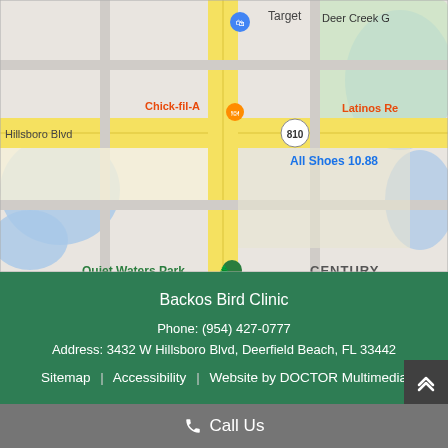[Figure (map): Google Maps screenshot showing area around 3432 W Hillsboro Blvd, Deerfield Beach, FL. Shows landmarks including Target, Chick-fil-A, All Shoes 10.88, Quiet Waters Park, route 810, and Latinos Re... and Deer Creek G... labels. A vertical yellow road runs through the center.]
Backos Bird Clinic
Phone: (954) 427-0777
Address: 3432 W Hillsboro Blvd, Deerfield Beach, FL 33442
Sitemap | Accessibility | Website by DOCTOR Multimedia
Call Us